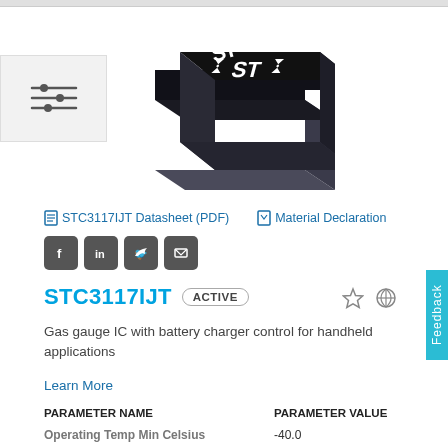[Figure (photo): STMicroelectronics IC chip package with ST logo on black surface, shown in 3D perspective view]
STC3117IJT Datasheet (PDF)   Material Declaration
[Figure (infographic): Social media sharing icons: Facebook, LinkedIn, Twitter, Email]
STC3117IJT  ACTIVE
Gas gauge IC with battery charger control for handheld applications
Learn More
| PARAMETER NAME | PARAMETER VALUE |
| --- | --- |
| Operating Temp Min Celsius | -40.0 |